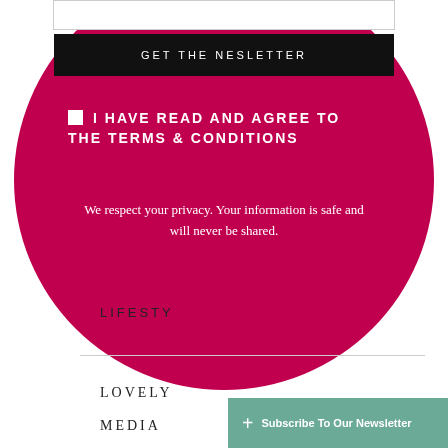GET THE NESLETTER
I HAVE READ AND AGREE TO THE TERMS & CONDITIONS
We respect your privacy. Your information is safe and will never be shared.
LIFESTYLE
LOVELY
MEDIA
+ Subscribe To Our Newsletter